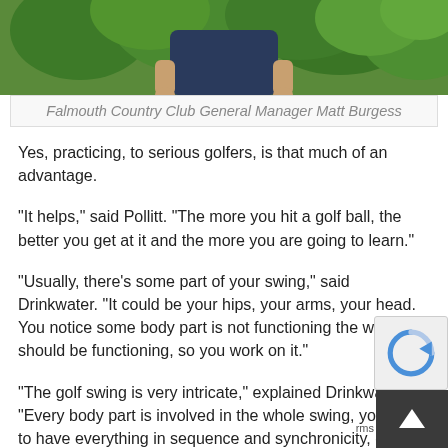[Figure (photo): Photo of Falmouth Country Club General Manager Matt Burgess, person standing outdoors with green foliage background]
Falmouth Country Club General Manager Matt Burgess
Yes, practicing, to serious golfers, is that much of an advantage.
“It helps,” said Pollitt. “The more you hit a golf ball, the better you get at it and the more you are going to learn.”
“Usually, there’s some part of your swing,” said Drinkwater. “It could be your hips, your arms, your head. You notice some body part is not functioning the way it should be functioning, so you work on it.”
“The golf swing is very intricate,” explained Drinkwater. “Every body part is involved in the whole swing, you have to have everything in sequence and synchronicity, often referred to as tempo.”
Drinkwater also said he st...